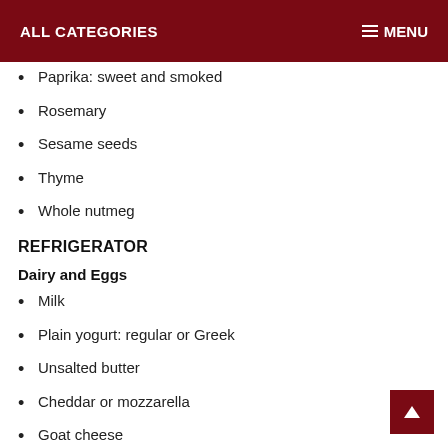ALL CATEGORIES   MENU
Paprika: sweet and smoked
Rosemary
Sesame seeds
Thyme
Whole nutmeg
REFRIGERATOR
Dairy and Eggs
Milk
Plain yogurt: regular or Greek
Unsalted butter
Cheddar or mozzarella
Goat cheese
Parmesan (wedge)